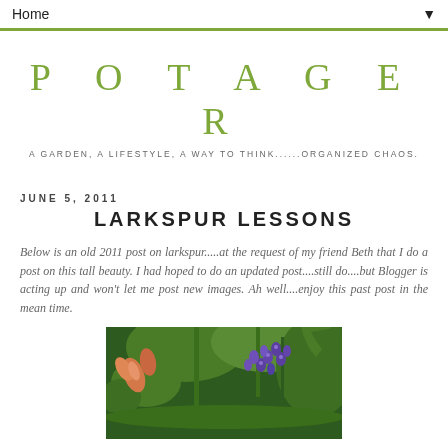Home ▼
POTAGER
A GARDEN, A LIFESTYLE, A WAY TO THINK......ORGANIZED CHAOS.
JUNE 5, 2011
LARKSPUR LESSONS
Below is an old 2011 post on larkspur.....at the request of my friend Beth that I do a post on this tall beauty.  I had hoped to do an updated post....still do....but Blogger is acting up and won't let me post new images.  Ah well....enjoy this past post in the mean time.
[Figure (photo): Close-up photograph of purple larkspur flowers with green foliage, and orange/pink lily buds in the background]